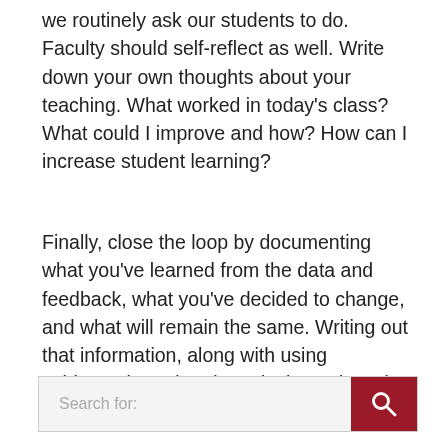we routinely ask our students to do. Faculty should self-reflect as well. Write down your own thoughts about your teaching. What worked in today's class? What could I improve and how? How can I increase student learning?
Finally, close the loop by documenting what you've learned from the data and feedback, what you've decided to change, and what will remain the same. Writing out that information, along with using evidence-based pedagogical practices, is scholarly teaching.
Search for: